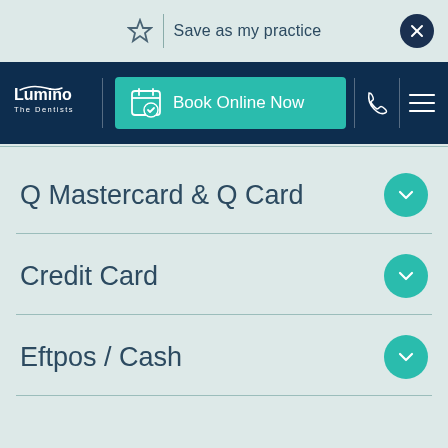[Figure (screenshot): Top bar with star icon, 'Save as my practice' text, and a dark close button on the right]
[Figure (screenshot): Lumino The Dentists navigation bar with 'Book Online Now' teal button, phone icon, and hamburger menu]
Q Mastercard & Q Card
Credit Card
Eftpos / Cash